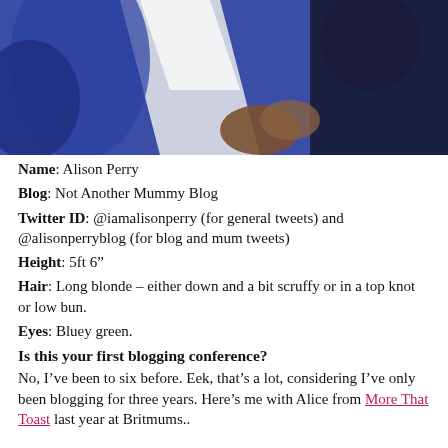[Figure (photo): A photo showing a person in a blue top, viewed from above, with a white document or paper visible.]
Name: Alison Perry
Blog: Not Another Mummy Blog
Twitter ID: @iamalisonperry (for general tweets) and @alisonperryblog (for blog and mum tweets)
Height: 5ft 6"
Hair: Long blonde – either down and a bit scruffy or in a top knot or low bun.
Eyes: Bluey green.
Is this your first blogging conference?
No, I've been to six before. Eek, that's a lot, considering I've only been blogging for three years. Here's me with Alice from More That Toast last year at Britmums..